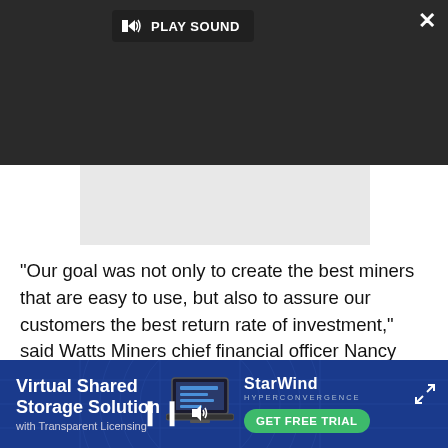[Figure (screenshot): Video player overlay with dark background, PLAY SOUND button, loading spinner circle, pause icon, volume icon, close X button, and expand icon]
"Our goal was not only to create the best miners that are easy to use, but also to assure our customers the best return rate of investment," said Watts Miners chief financial officer Nancy Lopez.
"Today, we are proud to announce that our mining rigs are second to none in the industry when it comes to power, efficiency, and profitability."
[Figure (screenshot): StarWind Hyperconvergence advertisement banner: Virtual Shared Storage Solution with Transparent Licensing, laptop image, StarWind logo, GET FREE TRIAL button]